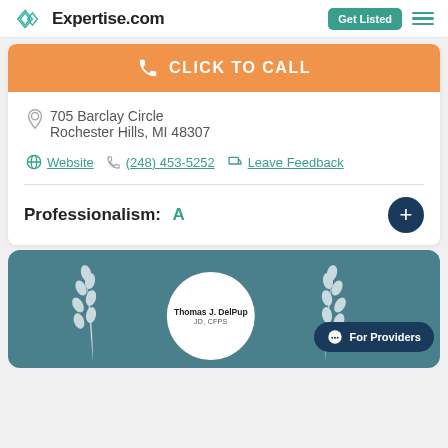Expertise.com | Get Listed
[Figure (screenshot): Orange click to call button with phone icon]
705 Barclay Circle
Rochester Hills, MI 48307
Website  (248) 453-5252  Leave Feedback
Professionalism: A
[Figure (infographic): Teal card showing Thomas J. DelPup JD, CFPS profile with wheat decorations and For Providers chat button]